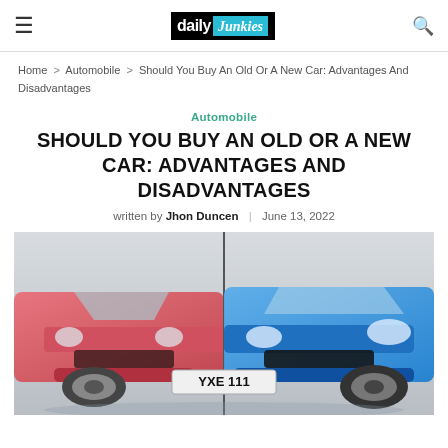daily Junkies
Home > Automobile > Should You Buy An Old Or A New Car: Advantages And Disadvantages
Automobile
SHOULD YOU BUY AN OLD OR A NEW CAR: ADVANTAGES AND DISADVANTAGES
written by Jhon Duncen | June 13, 2022
[Figure (photo): Split image of an old pink/red car on the left and a new blue car on the right, both facing forward, with a license plate reading YXE 111]